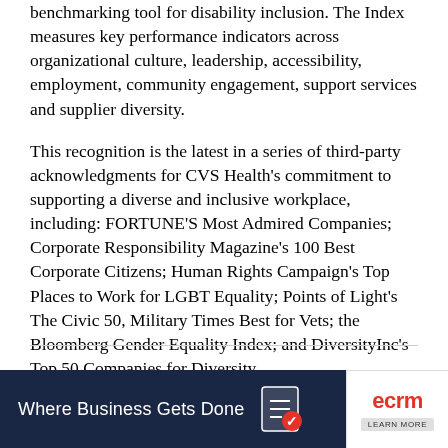benchmarking tool for disability inclusion. The Index measures key performance indicators across organizational culture, leadership, accessibility, employment, community engagement, support services and supplier diversity.
This recognition is the latest in a series of third-party acknowledgments for CVS Health's commitment to supporting a diverse and inclusive workplace, including: FORTUNE'S Most Admired Companies; Corporate Responsibility Magazine's 100 Best Corporate Citizens; Human Rights Campaign's Top Places to Work for LGBT Equality; Points of Light's The Civic 50, Military Times Best for Vets; the Bloomberg Gender Equality Index; and DiversityInc's Top 50 Companies for Diversity.
[Figure (other): Advertisement banner: dark navy blue background on left with text 'Where Business Gets Done' and a checklist icon; white right panel with ECRM logo in red and 'Learn More' button.]